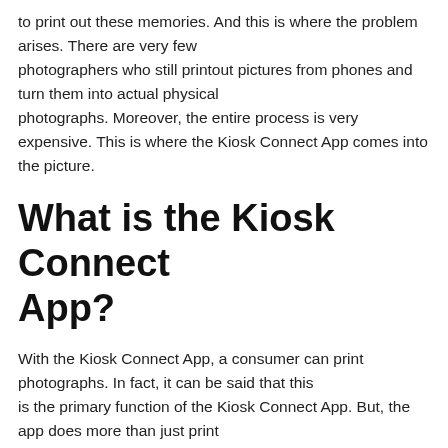to print out these memories. And this is where the problem arises. There are very few photographers who still printout pictures from phones and turn them into actual physical photographs. Moreover, the entire process is very expensive. This is where the Kiosk Connect App comes into the picture.
What is the Kiosk Connect App?
With the Kiosk Connect App, a consumer can print photographs. In fact, it can be said that this is the primary function of the Kiosk Connect App. But, the app does more than just print pictures; it can be for a host of other things, such as sharing pictures or any media from one device to another. It can be used to find the nearest place where